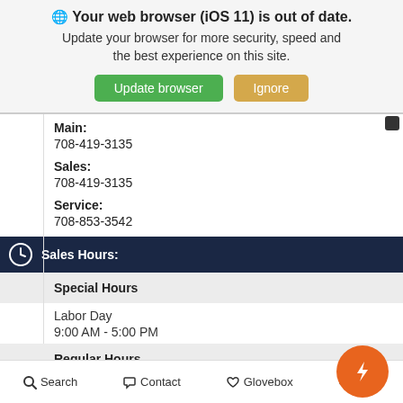🌐 Your web browser (iOS 11) is out of date. Update your browser for more security, speed and the best experience on this site. [Update browser] [Ignore]
Main:
708-419-3135
Sales:
708-419-3135
Service:
708-853-3542
Sales Hours:
Special Hours
Labor Day
9:00 AM - 5:00 PM
Regular Hours
Mon - Thu
Search  Contact  Glovebox  Chat